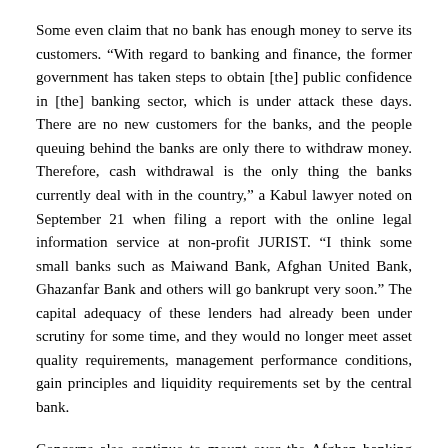Some even claim that no bank has enough money to serve its customers. “With regard to banking and finance, the former government has taken steps to obtain [the] public confidence in [the] banking sector, which is under attack these days. There are no new customers for the banks, and the people queuing behind the banks are only there to withdraw money. Therefore, cash withdrawal is the only thing the banks currently deal with in the country,” a Kabul lawyer noted on September 21 when filing a report with the online legal information service at non-profit JURIST. “I think some small banks such as Maiwand Bank, Afghan United Bank, Ghazanfar Bank and others will go bankrupt very soon.” The capital adequacy of these lenders had already been under scrutiny for some time, and they would no longer meet asset quality requirements, management performance conditions, gain principles and liquidity requirements set by the central bank.
Concerns also continue to mount over the Afghan banking sector’s foreign reserve capacity, particularly in US dollars, if Western powers insist on keeping them frozen and cutting ties with Afghan lenders and businesses. Already, the World Bank (WB), the International Monetary Fund (IMF) and the European Union (EU) have suspended their financing facilities for